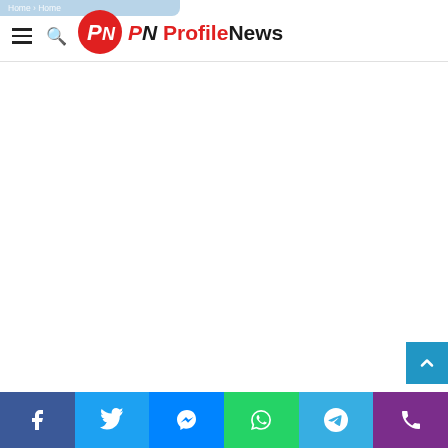ProfileNews - navigation header with logo
[Figure (screenshot): Main content area of ProfileNews website, mostly white/blank space]
Social share buttons: Facebook, Twitter, Messenger, WhatsApp, Telegram, Phone